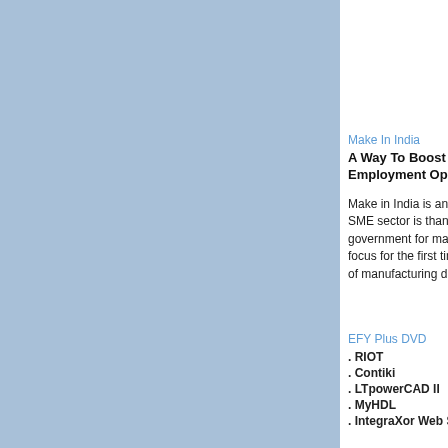Trehan, co sales, Lutr SAARC, s
Make In India
A Way To Boost Manufacturing And Employment Opportunities
Make in India is an admirable initiative! The SME sector is thankful to the current government for making manufacturing its focus for the first time since 1991, the year of manufacturing demise.
Industry N
Government encourage manufactu
The gover three-pron the growth units and n success.
EFY Plus DVD
. RIOT
. Contiki
. LTpowerCAD II
. MyHDL
. IntegraXor Web SCADA
EFY Plus
Contiki Fo The IoT
We are in a electronics efficient pr Things (Io
EFY Plus DVD
RIOT: Your Friend For The IoT
As a proud father would speak of his daughter, the developers of RIOT state, “RIOT powers the Internet of Things (IoT) like Linux powers the Internet.”
EFY Plus
TinyOS Fo Needs
The Intern has truly c techies an